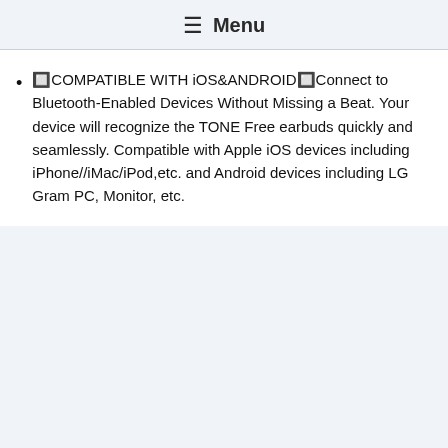≡ Menu
🔲COMPATIBLE WITH iOS&ANDROID🔲Connect to Bluetooth-Enabled Devices Without Missing a Beat. Your device will recognize the TONE Free earbuds quickly and seamlessly. Compatible with Apple iOS devices including iPhone//iMac/iPod,etc. and Android devices including LG Gram PC, Monitor, etc.